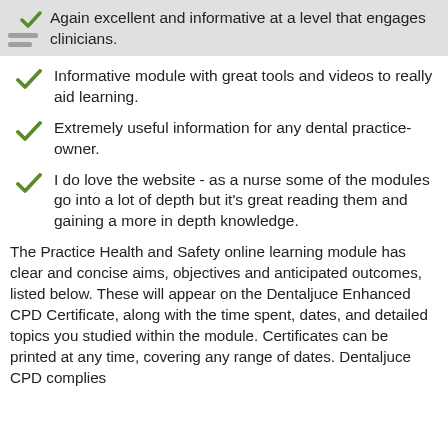Again excellent and informative at a level that engages clinicians.
Informative module with great tools and videos to really aid learning.
Extremely useful information for any dental practice-owner.
I do love the website - as a nurse some of the modules go into a lot of depth but it's great reading them and gaining a more in depth knowledge.
The Practice Health and Safety online learning module has clear and concise aims, objectives and anticipated outcomes, listed below. These will appear on the Dentaljuce Enhanced CPD Certificate, along with the time spent, dates, and detailed topics you studied within the module. Certificates can be printed at any time, covering any range of dates. Dentaljuce CPD complies